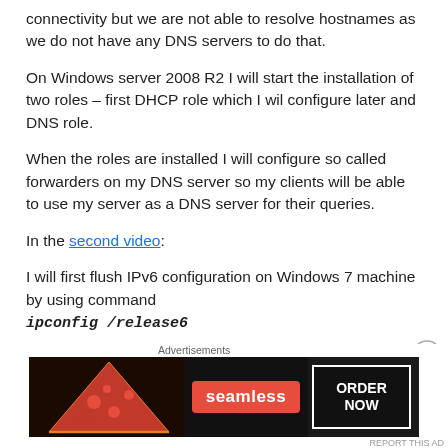connectivity but we are not able to resolve hostnames as we do not have any DNS servers to do that.
On Windows server 2008 R2 I will start the installation of two roles – first DHCP role which I wil configure later and DNS role.
When the roles are installed I will configure so called forwarders on my DNS server so my clients will be able to use my server as a DNS server for their queries.
In the second video:
I will first flush IPv6 configuration on Windows 7 machine by using command ipconfig /release6
Advertisements
[Figure (other): Seamless food delivery advertisement banner showing pizza with 'seamless ORDER NOW' text on dark background]